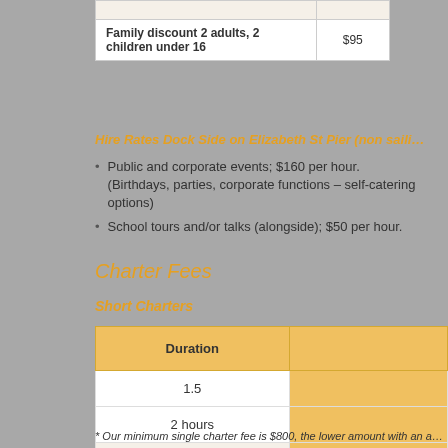|  |  |
| --- | --- |
| Family discount 2 adults, 2 children under 16 | $95 |
Hire Rates Dock Side on Elizabeth St Pier (non saili…
Public and corporate events; $160 per hour. (Birthdays, parties, corporate functions – self-catering options)
School tours and/or talks (alongside); $50 per hour.
Charter Fees
Short Charters
| Duration |  |
| --- | --- |
| 1.5 |  |
| 2 hours |  |
| 2.5 hours |  |
| 3 hours |  |
| Longer |  |
* Our minimum single charter fee is $800, the lower amount with an a…